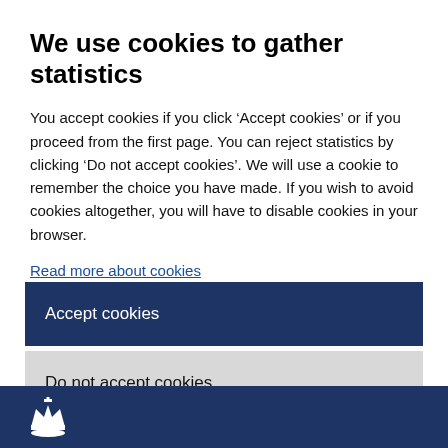We use cookies to gather statistics
You accept cookies if you click ‘Accept cookies’ or if you proceed from the first page. You can reject statistics by clicking ‘Do not accept cookies’. We will use a cookie to remember the choice you have made. If you wish to avoid cookies altogether, you will have to disable cookies in your browser.
Read more about cookies
Accept cookies
Do not accept cookies
[Figure (logo): White crown logo on dark navy blue footer bar]